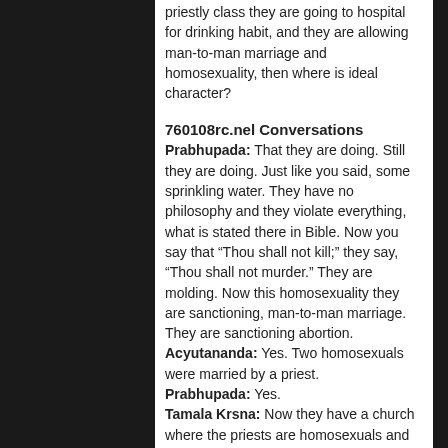priestly class they are going to hospital for drinking habit, and they are allowing man-to-man marriage and homosexuality, then where is ideal character?
760108rc.nel Conversations
Prabhupada: That they are doing. Still they are doing. Just like you said, some sprinkling water. They have no philosophy and they violate everything, what is stated there in Bible. Now you say that “Thou shall not kill;” they say, “Thou shall not murder.” They are molding. Now this homosexuality they are sanctioning, man-to-man marriage. They are sanctioning abortion.
Acyutananda: Yes. Two homosexuals were married by a priest.
Prabhupada: Yes.
Tamala Krsna: Now they have a church where the priests are homosexuals and